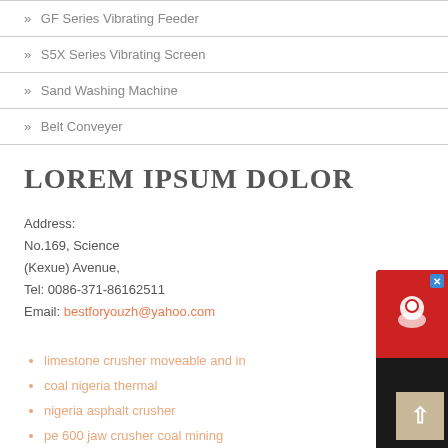» GF Series Vibrating Feeder
» S5X Series Vibrating Screen
» Sand Washing Machine
» Belt Conveyer
LOREM IPSUM DOLOR
Address:
No.169, Science
(Kexue) Avenue,
Tel: 0086-371-86162511
Email: bestforyouzh@yahoo.com
limestone crusher moveable and in
coal nigeria thermal
nigeria asphalt crusher
pe 600 jaw crusher coal mining